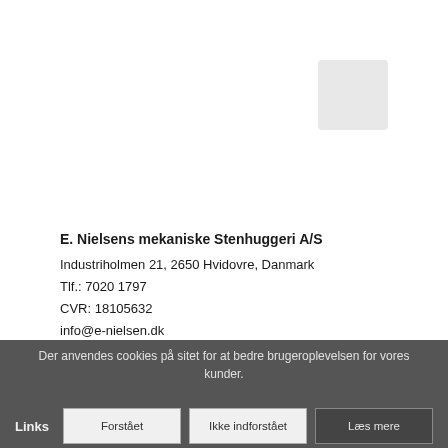[Figure (logo): Light grey rounded square logo placeholder in upper right area]
E. Nielsens mekaniske Stenhuggeri A/S
Industriholmen 21, 2650 Hvidovre, Danmark
Tlf.: 7020 1797
CVR: 18105632
info@e-nielsen.dk
Faktura mail: e-nielsen@faktura-boks.dk
Der anvendes cookies på sitet for at bedre brugeroplevelsen for vores kunder.
Links
Forstået
Ikke indforstået
Læs mere